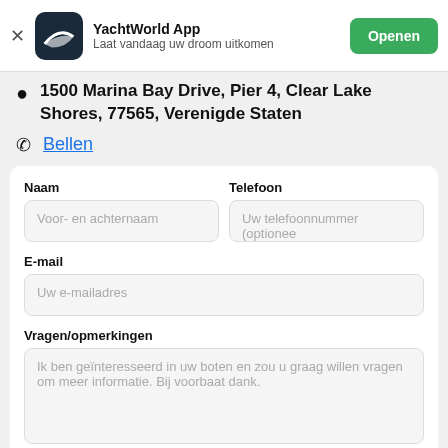YachtWorld App — Laat vandaag uw droom uitkomen — Openen
1500 Marina Bay Drive, Pier 4, Clear Lake Shores, 77565, Verenigde Staten
Bellen
Naam
Voor- en achternaam
Telefoon
Uw telefoonnummer (optionee
E-mail
Uw e-mailadres
Vragen/opmerkingen
Ik ben geïnteresseerd in uw boten en zou u graag willen vragen om meer informatie. Bij voorbaat dank.
Verstuur e-mail